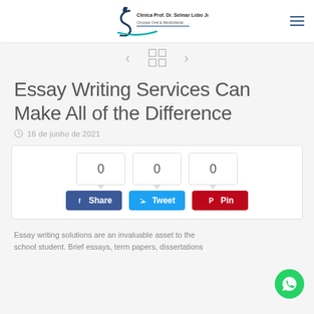Clínica Prof. Dr. Selmar Lobo Jr. Cirurgia Oral & Maxilofacial
[Figure (screenshot): Navigation row with left arrow, 2x2 grid icon, and right arrow]
Essay Writing Services Can Make All of the Difference
16 de junho de 2021
[Figure (infographic): Social share box with three count boxes showing 0, 0, 0 and buttons: Share (Facebook), Tweet (Twitter), Pin (Pinterest)]
Essay writing solutions are an invaluable asset to the school student. Brief essays, term papers, dissertations